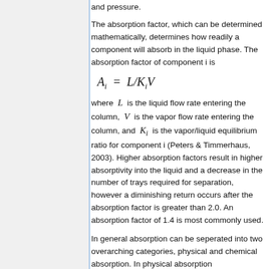and pressure.
The absorption factor, which can be determined mathematically, determines how readily a component will absorb in the liquid phase. The absorption factor of component i is
where L is the liquid flow rate entering the column, V is the vapor flow rate entering the column, and K_i is the vapor/liquid equilibrium ratio for component i (Peters & Timmerhaus, 2003). Higher absorption factors result in higher absorptivity into the liquid and a decrease in the number of trays required for separation, however a diminishing return occurs after the absorption factor is greater than 2.0. An absorption factor of 1.4 is most commonly used.
In general absorption can be seperated into two overarching categories, physical and chemical absorption. In physical absorption